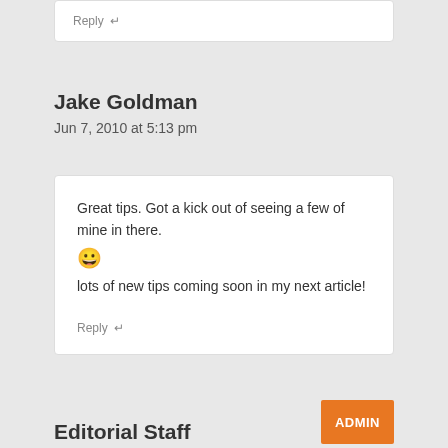Reply ↵
Jake Goldman
Jun 7, 2010 at 5:13 pm
Great tips. Got a kick out of seeing a few of mine in there. 😀 lots of new tips coming soon in my next article!
Reply ↵
Editorial Staff
ADMIN